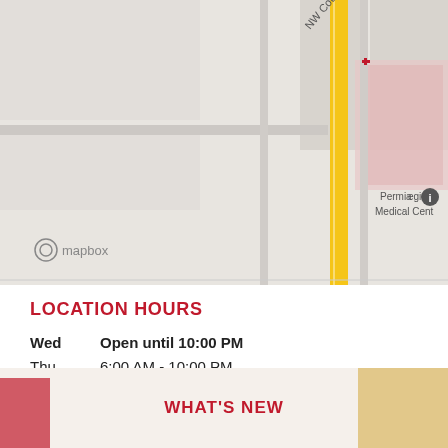[Figure (map): Mapbox street map showing NW County Rd 151, Davison Dr, and Permian Regional Medical Center area]
LOCATION HOURS
| Day | Hours |
| --- | --- |
| Wed | Open until 10:00 PM |
| Thu | 6:00 AM - 10:00 PM |
| Fri | 6:00 AM - 12:00 AM |
| Sat | 6:00 AM - 12:00 AM |
| Sun | 6:00 AM - 10:00 PM |
| Mon | 6:00 AM - 10:00 PM |
| Tue | 6:00 AM - 10:00 PM |
WHAT'S NEW